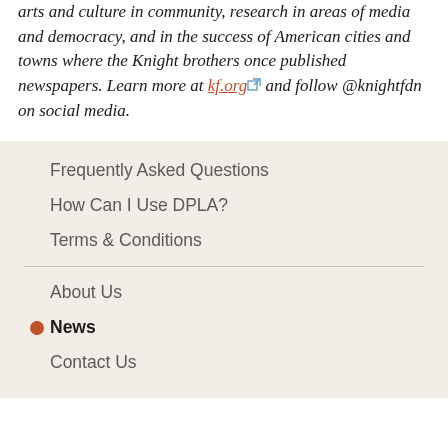arts and culture in community, research in areas of media and democracy, and in the success of American cities and towns where the Knight brothers once published newspapers. Learn more at kf.org and follow @knightfdn on social media.
Frequently Asked Questions
How Can I Use DPLA?
Terms & Conditions
About Us
News
Contact Us